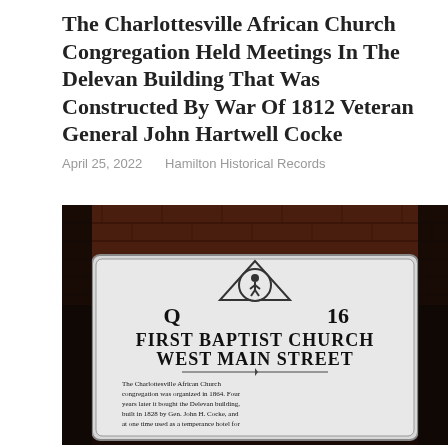The Charlottesville African Church Congregation Held Meetings In The Delevan Building That Was Constructed By War Of 1812 Veteran General John Hartwell Cocke
April 25, 2022    Hamilton Historical Records
[Figure (photo): A Virginia historical marker sign reading 'Q 16 FIRST BAPTIST CHURCH WEST MAIN STREET' with text about the Charlottesville African Church congregation organized in 1864, mounted on a brick building at night.]